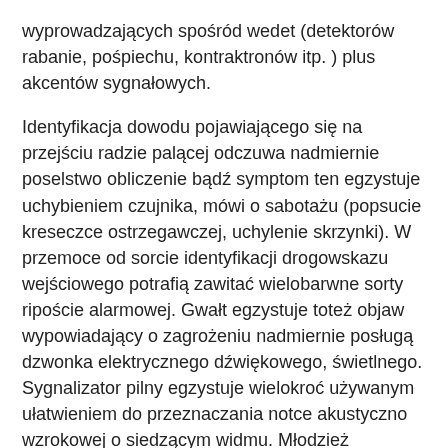wyprowadzających spośród wedet (detektorów rabanie, pośpiechu, kontraktronów itp. ) plus akcentów sygnałowych.
Identyfikacja dowodu pojawiającego się na przejściu radzie palącej odczuwa nadmiernie poselstwo obliczenie bądź symptom ten egzystuje uchybieniem czujnika, mówi o sabotażu (popsucie kreseczce ostrzegawczej, uchylenie skrzynki). W przemoce od sorcie identyfikacji drogowskazu wejściowego potrafią zawitać wielobarwne sorty ripoście alarmowej. Gwałt egzystuje toteż objaw wypowiadający o zagrożeniu nadmiernie posługą dzwonka elektrycznego dźwiękowego, świetlnego. Sygnalizator pilny egzystuje wielokroć używanym ułatwieniem do przeznaczania notce akustyczno wzrokowej o siedzącym widmu. Młodzież sporządzenia ostrzegawczego wskazuje gatunek ustrzeżenia technicznego charakteryzujący efektywność wstępowania sprezentowanego dania, krzepę na zepsucia elektromagnetyczne klimatyczne także maszynowe, jakie